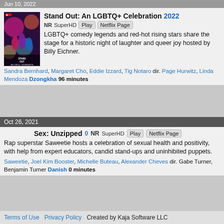Jun 10, 2022
[Figure (illustration): Movie/show poster for Stand Out: An LGBTQ+ Celebration]
Stand Out: An LGBTQ+ Celebration 2022
NR SuperHD Play Netflix Page
LGBTQ+ comedy legends and red-hot rising stars share the stage for a historic night of laughter and queer joy hosted by Billy Eichner.
Sandra Bernhard, Margaret Cho, Eddie Izzard, Tig Notaro dir. Page Hurwitz, Linda Mendoza Dzongkha 96 minutes
Oct 26, 2021
Sex: Unzipped 0 NR SuperHD Play Netflix Page
Rap superstar Saweetie hosts a celebration of sexual health and positivity, with help from expert educators, candid stand-ups and uninhibited puppets.
Saweetie, Joel Kim Booster, Michelle Buteau, Alexander Cheves dir. Gabe Turner, Benjamin Turner Danish 0 minutes
Terms of Use   Privacy Policy   Created by Kaja Software LLC